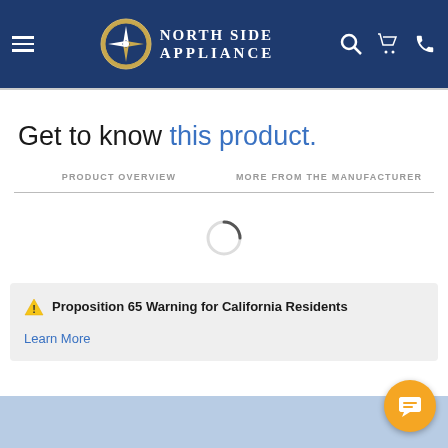North Side Appliance
Get to know this product.
PRODUCT OVERVIEW   MORE FROM THE MANUFACTURER
[Figure (other): Loading spinner circle]
⚠ Proposition 65 Warning for California Residents
Learn More